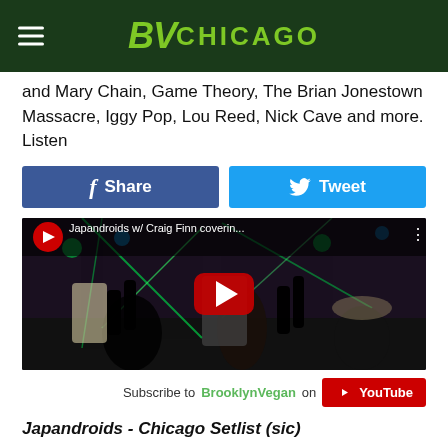BVChicago
and Mary Chain, Game Theory, The Brian Jonestown Massacre, Iggy Pop, Lou Reed, Nick Cave and more. Listen
[Figure (screenshot): Facebook Share button and Twitter Tweet button]
[Figure (screenshot): YouTube video embed: Japandroids w/ Craig Finn coverin... showing a concert scene with crowd hands raised and green stage lights, with a red YouTube play button overlay]
Subscribe to BrooklynVegan on YouTube
Japandroids - Chicago Setlist (sic)